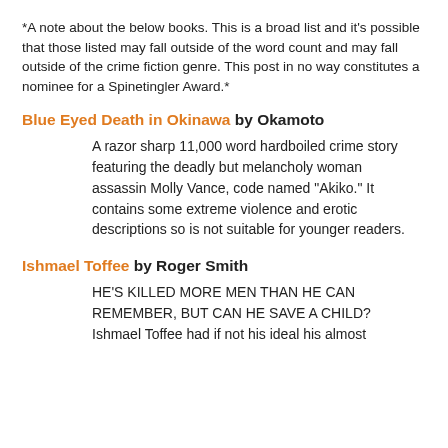*A note about the below books. This is a broad list and it's possible that those listed may fall outside of the word count and may fall outside of the crime fiction genre. This post in no way constitutes a nominee for a Spinetingler Award.*
Blue Eyed Death in Okinawa by Okamoto
A razor sharp 11,000 word hardboiled crime story featuring the deadly but melancholy woman assassin Molly Vance, code named "Akiko." It contains some extreme violence and erotic descriptions so is not suitable for younger readers.
Ishmael Toffee by Roger Smith
HE'S KILLED MORE MEN THAN HE CAN REMEMBER, BUT CAN HE SAVE A CHILD? Ishmael Toffee had if not his ideal his almost...